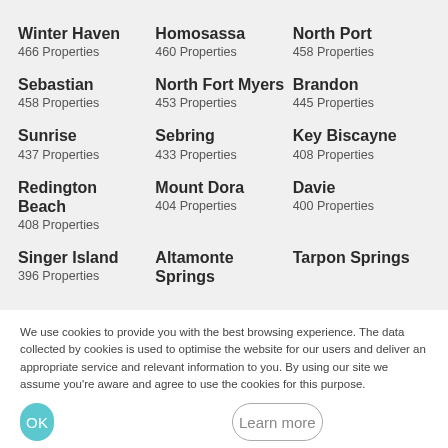Winter Haven
466 Properties
Homosassa
460 Properties
North Port
458 Properties
Sebastian
458 Properties
North Fort Myers
453 Properties
Brandon
445 Properties
Sunrise
437 Properties
Sebring
433 Properties
Key Biscayne
408 Properties
Redington Beach
408 Properties
Mount Dora
404 Properties
Davie
400 Properties
Singer Island
396 Properties
Altamonte Springs
Tarpon Springs
We use cookies to provide you with the best browsing experience. The data collected by cookies is used to optimise the website for our users and deliver an appropriate service and relevant information to you. By using our site we assume you're aware and agree to use the cookies for this purpose.
OK
Learn more